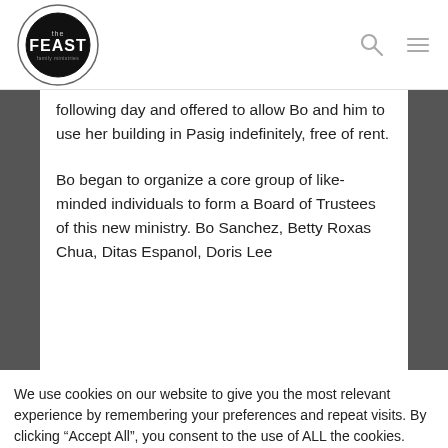the FEAST
following day and offered to allow Bo and him to use her building in Pasig indefinitely, free of rent.
Bo began to organize a core group of like-minded individuals to form a Board of Trustees of this new ministry. Bo Sanchez, Betty Roxas Chua, Ditas Espanol, Doris Lee
We use cookies on our website to give you the most relevant experience by remembering your preferences and repeat visits. By clicking “Accept All”, you consent to the use of ALL the cookies. However, you may visit "Cookie Settings" to provide a controlled consent.